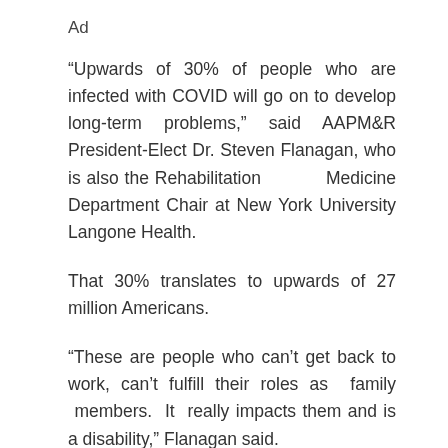Ad
“Upwards of 30% of people who are infected with COVID will go on to develop long-term problems,” said AAPM&R President-Elect Dr. Steven Flanagan, who is also the Rehabilitation Medicine Department Chair at New York University Langone Health.
That 30% translates to upwards of 27 million Americans.
“These are people who can’t get back to work, can’t fulfill their roles as family members. It really impacts them and is a disability,” Flanagan said.